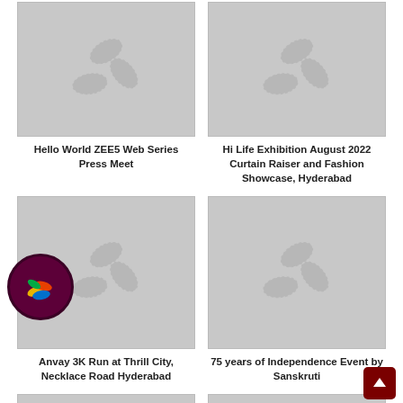[Figure (photo): Placeholder thumbnail with film reel icon - Hello World ZEE5 Web Series Press Meet]
Hello World ZEE5 Web Series Press Meet
[Figure (photo): Placeholder thumbnail with film reel icon - Hi Life Exhibition August 2022 Curtain Raiser and Fashion Showcase, Hyderabad]
Hi Life Exhibition August 2022 Curtain Raiser and Fashion Showcase, Hyderabad
[Figure (photo): Placeholder thumbnail with film reel icon - Anvay 3K Run at Thrill City, Necklace Road Hyderabad]
Anvay 3K Run at Thrill City, Necklace Road Hyderabad
[Figure (photo): Placeholder thumbnail with film reel icon - 75 years of Independence Event by Sanskruti]
75 years of Independence Event by Sanskruti
[Figure (photo): Placeholder thumbnail with film reel icon - bottom left, partially visible]
[Figure (photo): Placeholder thumbnail with film reel icon - bottom right, partially visible]